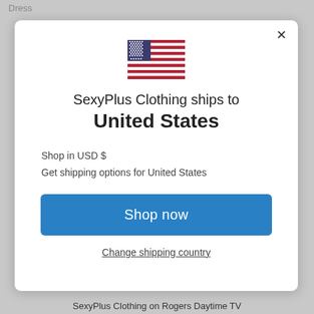Dress
[Figure (screenshot): Modal dialog with US flag, shipping info, and Shop now button]
SexyPlus Clothing on Rogers Daytime TV